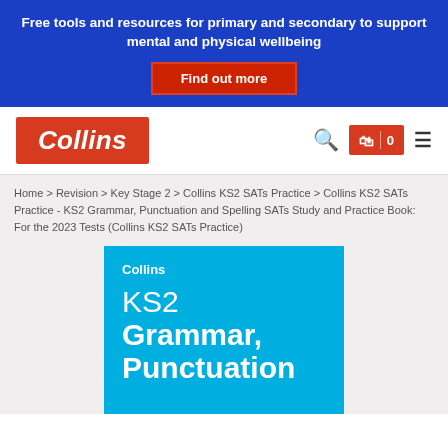Free tools and resources for primary and secondary to support mental and physical wellbeing
Find out more
[Figure (logo): Collins logo — white italic text on red/orange background]
Home > Revision > Key Stage 2 > Collins KS2 SATs Practice > Collins KS2 SATs Practice - KS2 Grammar, Punctuation and Spelling SATs Study and Practice Book: For the 2023 Tests (Collins KS2 SATs Practice)
[Figure (photo): Partial book cover with cyan/blue background showing 'Collins' and 'KS2 Grammar, Punctuation' text in white]